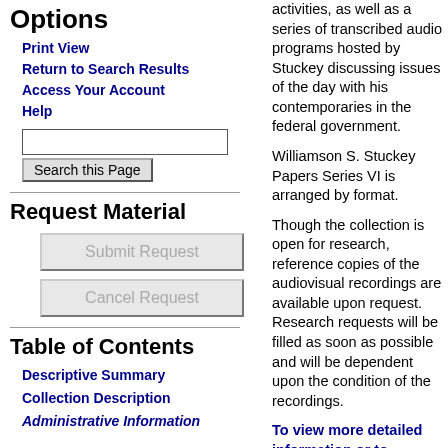Options
Print View
Return to Search Results
Access Your Account
Help
Request Material
Table of Contents
Descriptive Summary
Collection Description
Administrative Information
activities, as well as a series of transcribed audio programs hosted by Stuckey discussing issues of the day with his contemporaries in the federal government.
Williamson S. Stuckey Papers Series VI is arranged by format.
Though the collection is open for research, reference copies of the audiovisual recordings are available upon request. Research requests will be filled as soon as possible and will be dependent upon the condition of the recordings.
To view more detailed information or to request materials from this series, visit the finding aid for this series.